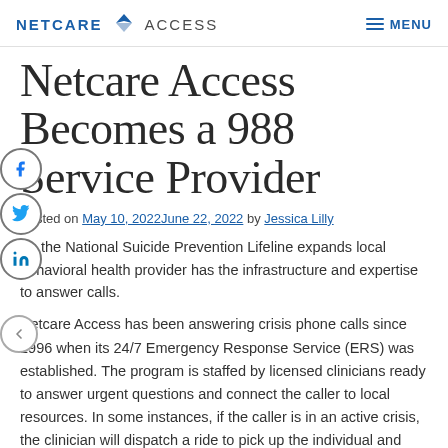NETCARE ACCESS — MENU
Netcare Access Becomes a 988 Service Provider
Posted on May 10, 2022June 22, 2022 by Jessica Lilly
As the National Suicide Prevention Lifeline expands local behavioral health provider has the infrastructure and expertise to answer calls.
Netcare Access has been answering crisis phone calls since 1996 when its 24/7 Emergency Response Service (ERS) was established. The program is staffed by licensed clinicians ready to answer urgent questions and connect the caller to local resources. In some instances, if the caller is in an active crisis, the clinician will dispatch a ride to pick up the individual and bring